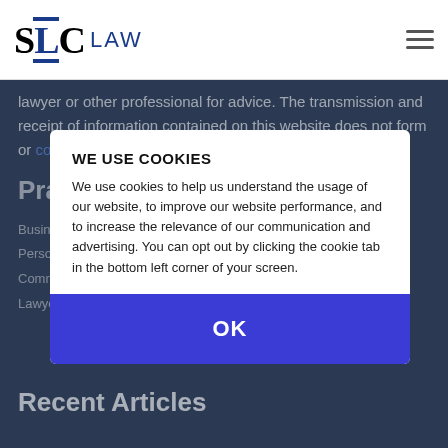[Figure (logo): SLC Law logo with large serif SLC letters and blue LAW text]
lawyer or other professional for advice. The transmission and receipt of information contained on this website does not form or constitute a lawyer-client relationship.
Practice Areas
Business Law
Personal Injury
Commercial Real Estate
Lawyer
Recent Articles
WE USE COOKIES
We use cookies to help us understand the usage of our website, to improve our website performance, and to increase the relevance of our communication and advertising. You can opt out by clicking the cookie tab in the bottom left corner of your screen.